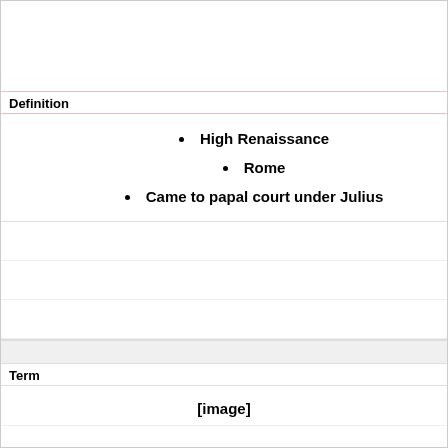Definition
High Renaissance
Rome
Came to papal court under Julius
Term
[Figure (other): [image]]